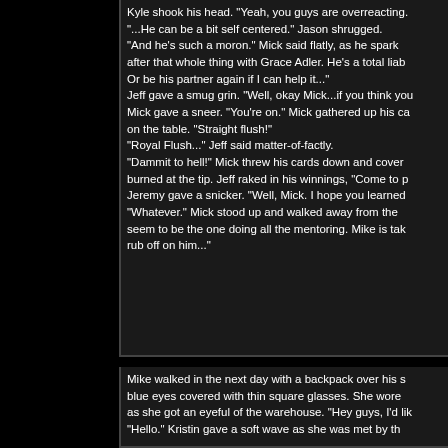Kyle shook his head. "Yeah, you guys are overreacting.
"...He can be a bit self centered." Jason shrugged.
"And he's such a moron." Mick said flatly, as he spark after that whole thing with Grace Adler. He's a total liab Or be his partner again if I can help it..."
Jeff gave a smug grin. "Well, okay Mick...if you think you
Mick gave a sneer. "You're on." Mick gathered up his ca on the table. "Straight flush!"
"Royal Flush..." Jeff said matter-of-factly.
"Dammit to hell!" Mick threw his cards down and cover burned at the tip. Jeff raked in his winnings, "Come to p
Jeremy gave a snicker. "Well, Mick. I hope you learned
"Whatever." Mick stood up and walked away from the seem to be the one doing all the mentoring. Mike is tak rub off on him..."
Mike walked in the next day with a backpack over his s blue eyes covered with thin square glasses. She wore as she got an eyeful of the warehouse. "Hey guys, I'd lik
"Hello." Kristin gave a soft wave as she was met by th